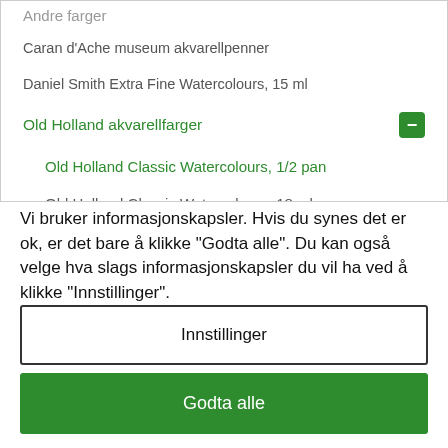Andre farger
Caran d'Ache museum akvarellpenner
Daniel Smith Extra Fine Watercolours, 15 ml
Old Holland akvarellfarger
Old Holland Classic Watercolours, 1/2 pan
Old Holland Classic Watercolours, 18 ml
Vi bruker informasjonskapsler. Hvis du synes det er ok, er det bare å klikke "Godta alle". Du kan også velge hva slags informasjonskapsler du vil ha ved å klikke "Innstillinger".
Les vår policy for informasjonskapsler
Innstillinger
Godta alle